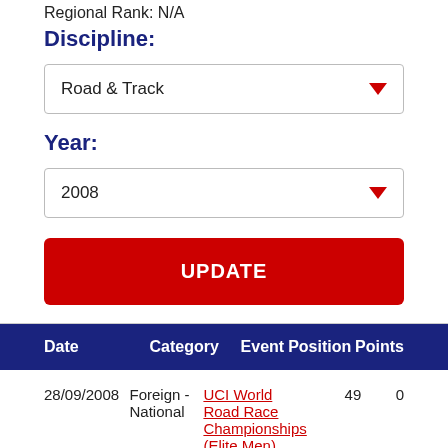Regional Rank: N/A
Discipline:
Road & Track
Year:
2008
UPDATE
| Date | Category | Event | Position | Points |
| --- | --- | --- | --- | --- |
| 28/09/2008 | Foreign - National | UCI World Road Race Championships (Elite Men) | 49 | 0 |